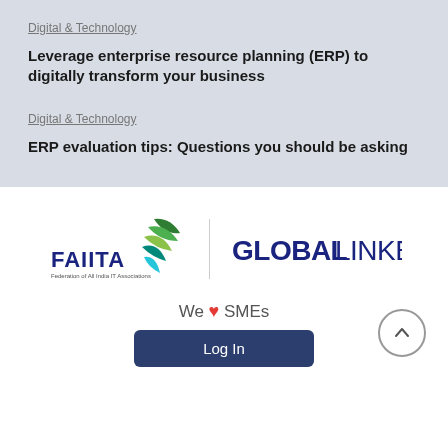Digital & Technology
Leverage enterprise resource planning (ERP) to digitally transform your business
Digital & Technology
ERP evaluation tips: Questions you should be asking
[Figure (logo): FAIITA (Federation of All India IT Associations) logo and GlobalLinker logo side by side with a vertical divider]
We ♥ SMEs
Log In